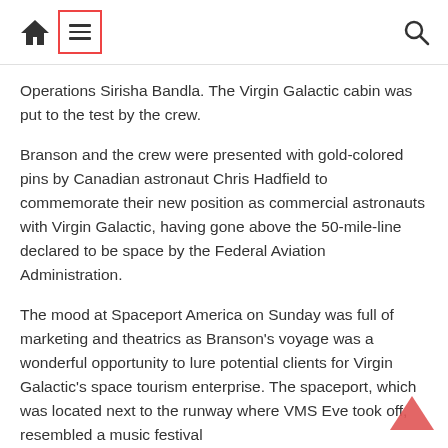[Home icon] [Menu icon] [Search icon]
Operations Sirisha Bandla. The Virgin Galactic cabin was put to the test by the crew.
Branson and the crew were presented with gold-colored pins by Canadian astronaut Chris Hadfield to commemorate their new position as commercial astronauts with Virgin Galactic, having gone above the 50-mile-line declared to be space by the Federal Aviation Administration.
The mood at Spaceport America on Sunday was full of marketing and theatrics as Branson’s voyage was a wonderful opportunity to lure potential clients for Virgin Galactic’s space tourism enterprise. The spaceport, which was located next to the runway where VMS Eve took off, resembled a music festival